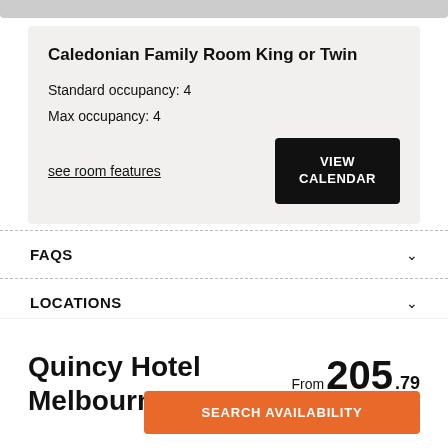Caledonian Family Room King or Twin
Standard occupancy: 4
Max occupancy: 4
see room features
FAQS
LOCATIONS
ATTRACTIONS
Quincy Hotel Melbourne
From 205.79 AUD per night
SEARCH AVAILABILITY